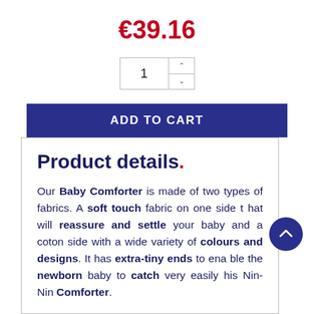€39.16
[Figure (other): Quantity selector input box with up/down arrows showing value 1]
[Figure (other): ADD TO CART button in dark blue/indigo]
Product details.
Our Baby Comforter is made of two types of fabrics. A soft touch fabric on one side that will reassure and settle your baby and a coton side with a wide variety of colours and designs. It has extra-tiny ends to enable the newborn baby to catch very easily his Nin-Nin Comforter.